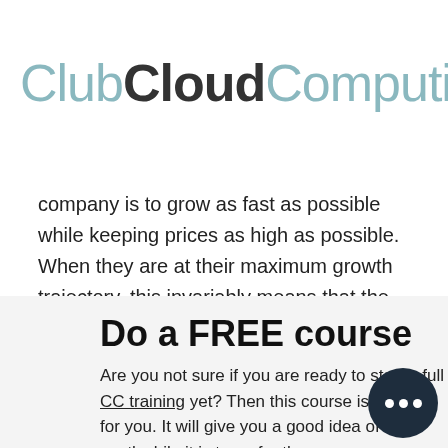ClubCloudComputing
company is to grow as fast as possible while keeping prices as high as possible. When they are at their maximum growth trajectory, this invariably means that the prices will be too high for some potential customers.
Do a FREE course
Are you not sure if you are ready to start a full CC training yet? Then this course is perfect for you. It will give you a good idea of how worthwhile it is to go for the